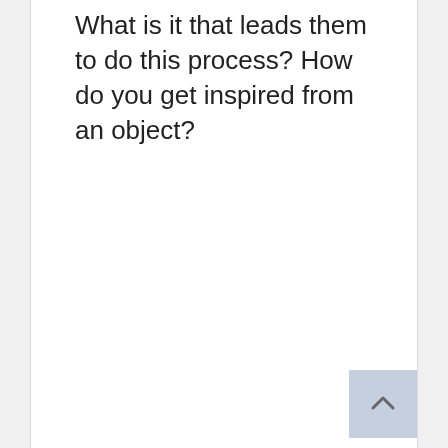What is it that leads them to do this process? How do you get inspired from an object?